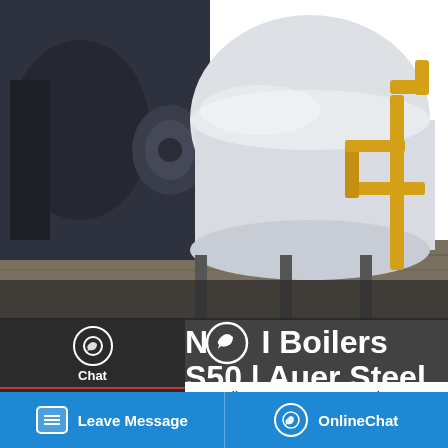[Figure (photo): Industrial boiler equipment — NTI Boilers S50 with yellow pipes and large cylindrical tank in industrial setting]
NTI Boilers S50 | Auer Steel
NTI Indirect Water Heater, Series: S Series, 180 MBtu/hr Htg, 53 gal Tank, 10 gpm, 3/4 in Water Connection, 211 gal at 140 deg F Recovery, 150 psi, 190 deg F Tank/210 deg F Boiler, Ultra Low Nox: No, 444 Stainless Steel, 23-7/8 in Dia x 49 in H
[Figure (screenshot): Save Stickers on WhatsApp promotional banner with green WhatsApp icon and pink emoji icon]
Leave Message   OnlineChat